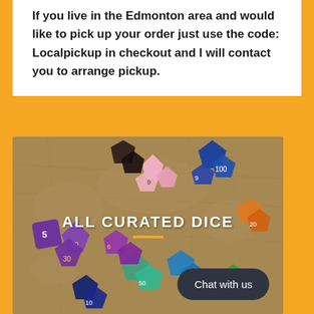If you live in the Edmonton area and would like to pick up your order just use the code: Localpickup in checkout and I will contact you to arrange pickup.
[Figure (photo): A photo of many colorful polyhedral dice (D&D/tabletop RPG dice) in various colors including purple, blue, pink, green, orange, and multi-colored, spread on an antique map background. Text overlay reads 'ALL CURATED DICE' with an orange underline, and a dark 'Chat with us' button in the bottom right.]